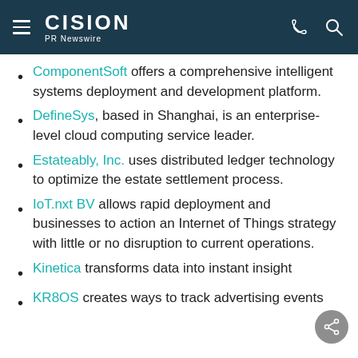CISION PR Newswire
ComponentSoft offers a comprehensive intelligent systems deployment and development platform.
DefineSys, based in Shanghai, is an enterprise-level cloud computing service leader.
Estateably, Inc. uses distributed ledger technology to optimize the estate settlement process.
IoT.nxt BV allows rapid deployment and businesses to action an Internet of Things strategy with little or no disruption to current operations.
Kinetica transforms data into instant insight
KR8OS creates ways to track advertising events